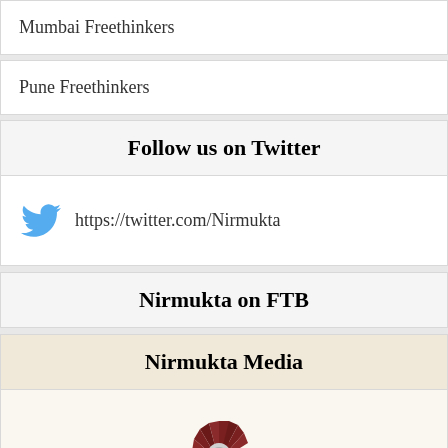Mumbai Freethinkers
Pune Freethinkers
Follow us on Twitter
https://twitter.com/Nirmukta
Nirmukta on FTB
Nirmukta Media
[Figure (logo): Two logos partially visible at the bottom - a feather/quill logo on the left and a microphone/fan logo on the right]